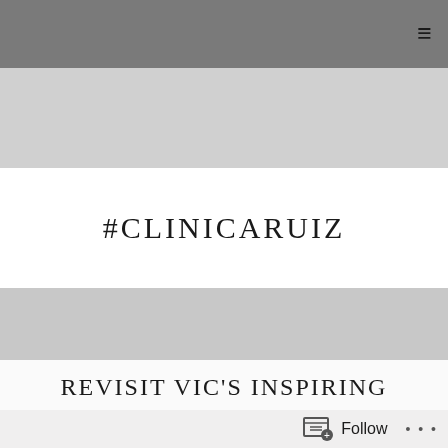≡
#CLINICARUIZ
REVISIT VIC'S INSPIRING RESOLVE AND DETERMINATION DESPITE THE NAYSAYERS AND COVID (S6 REPLAY)
Follow ...